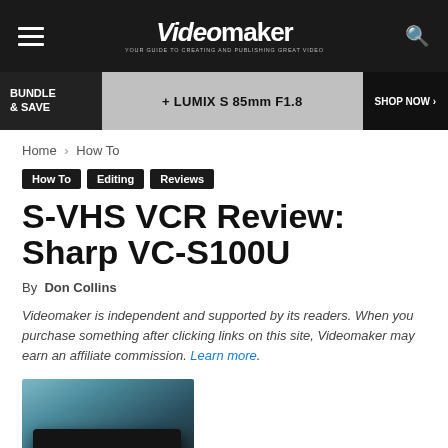Videomaker — YOUR GUIDE TO CREATING AND PUBLISHING GREAT VIDEO
[Figure (other): Advertisement banner: BUNDLE & SAVE + LUMIX S 85mm F1.8 SHOP NOW]
Home › How To
How To
Editing
Reviews
S-VHS VCR Review: Sharp VC-S100U
By Don Collins
Videomaker is independent and supported by its readers. When you purchase something after clicking links on this site, Videomaker may earn an affiliate commission. Learn more.
[Figure (photo): Photo of Sharp VC-S100U S-VHS VCR — black rectangular device on a blue-green background]